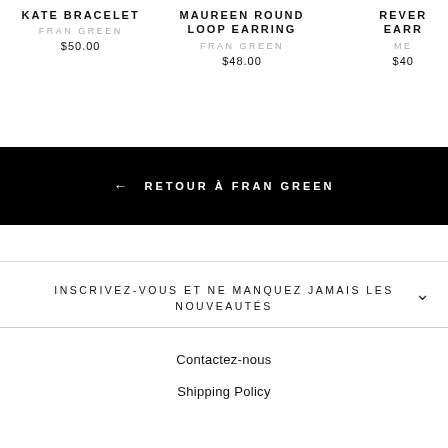KATE BRACELET — FRAN GREEN — $50.00
MAUREEN ROUND LOOP EARRING — FRAN GREEN — $48.00
REVER EARR — ME — $40
← RETOUR À FRAN GREEN
INSCRIVEZ-VOUS ET NE MANQUEZ JAMAIS LES NOUVEAUTÉS
Contactez-nous
Shipping Policy